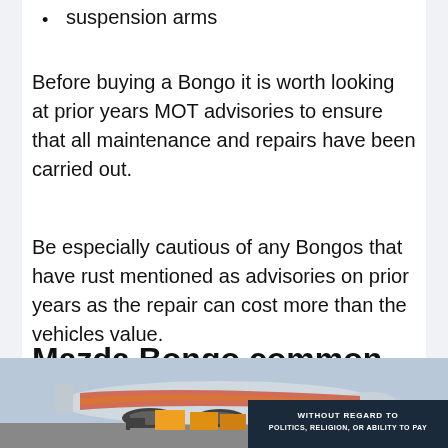suspension arms
Before buying a Bongo it is worth looking at prior years MOT advisories to ensure that all maintenance and repairs have been carried out.
Be especially cautious of any Bongos that have rust mentioned as advisories on prior years as the repair can cost more than the vehicles value.
Mazda Bongo common
[Figure (photo): Advertisement banner showing an airplane being loaded with cargo, with text overlay 'WITHOUT REGARD TO POLITICS, RELIGION, OR ABILITY TO PAY']